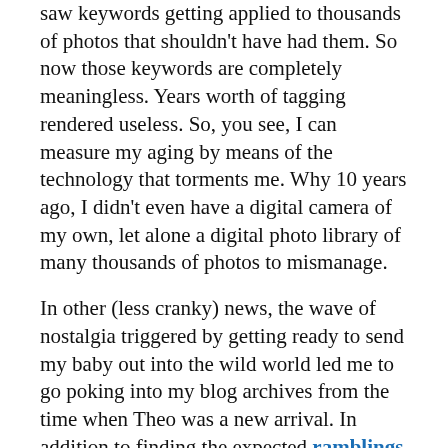saw keywords getting applied to thousands of photos that shouldn't have had them. So now those keywords are completely meaningless. Years worth of tagging rendered useless. So, you see, I can measure my aging by means of the technology that torments me. Why 10 years ago, I didn't even have a digital camera of my own, let alone a digital photo library of many thousands of photos to mismanage.
In other (less cranky) news, the wave of nostalgia triggered by getting ready to send my baby out into the wild world led me to go poking into my blog archives from the time when Theo was a new arrival. In addition to finding the expected ramblings about having a new baby, I also found this other post, which (if I do say so myself) is quite entertaining: Advanced Topics in Procrastination. If you are a procrastinator, you should definitely put it on your